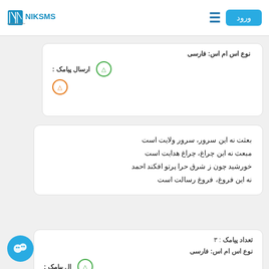NIKSMS - ورود
نوع اس ام اس: فارسی
ارسال پیامک :
بعثت نه این سرور، سرور ولایت است
مبعث نه این چراغ، چراغ هدایت است
خورشید چون ز شرق حرا پرتو افکند احمد
نه این فروغ، فروغ رسالت است
تعداد پیامک: ۳
نوع اس ام اس: فارسی
ارسال پیامک :